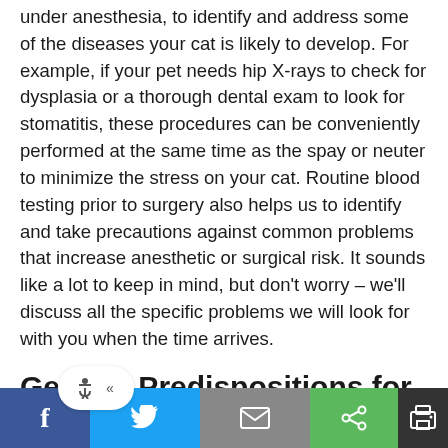under anesthesia, to identify and address some of the diseases your cat is likely to develop. For example, if your pet needs hip X-rays to check for dysplasia or a thorough dental exam to look for stomatitis, these procedures can be conveniently performed at the same time as the spay or neuter to minimize the stress on your cat. Routine blood testing prior to surgery also helps us to identify and take precautions against common problems that increase anesthetic or surgical risk. It sounds like a lot to keep in mind, but don't worry – we'll discuss all the specific problems we will look for with you when the time arrives.
Genetic Predispositions for